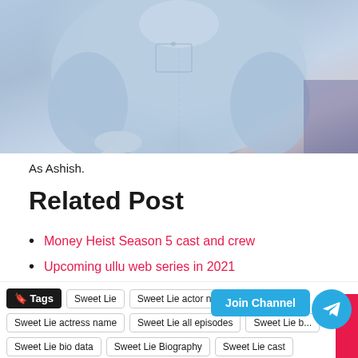[Figure (photo): Photo of a person wearing a light blue denim shirt, seated, cropped at torso level]
As Ashish.
Related Post
Money Heist Season 5 cast and crew
Upcoming ullu web series in 2021
Top 10 best ullu web series list
Tarak mehta ka ooltah chashmah cast and crew
Tags  Sweet Lie  Sweet Lie actor n...  Sweet Lie actress name  Sweet Lie all episodes  Sweet Lie b...  Sweet Lie bio data  Sweet Lie Biography  Sweet Lie cast